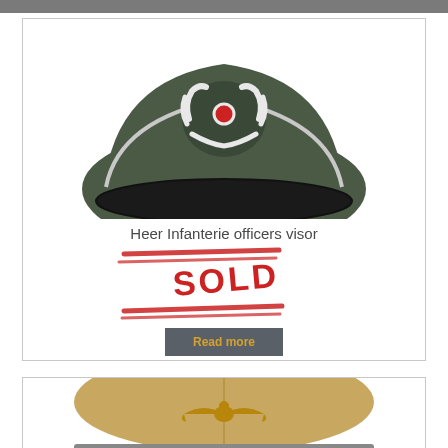[Figure (photo): Military visor cap (Heer Infanterie officers visor) - dark green cap with silver piping and eagle/wreath cockade insignia, black patent leather brim, on white background]
Heer Infanterie officers visor
[Figure (other): SOLD stamp in red with diagonal lines above and below the text, overlapping a dark grey Read more button with yellow-gold text]
[Figure (photo): Second military visor cap - tan/khaki colored cap with eagle insignia on the front, partially visible, white background]